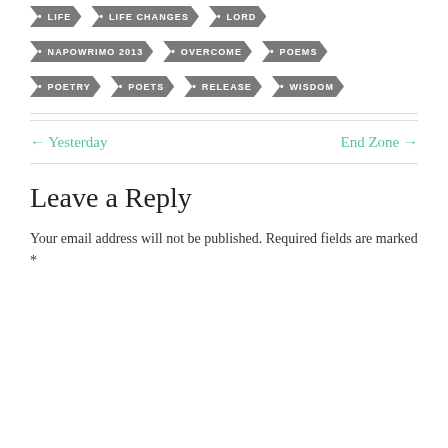LIFE
LIFE CHANGES
LORD
NAPOWRIMO 2013
OVERCOME
POEMS
POETRY
POETS
RELEASE
WISDOM
← Yesterday
End Zone →
Leave a Reply
Your email address will not be published. Required fields are marked *